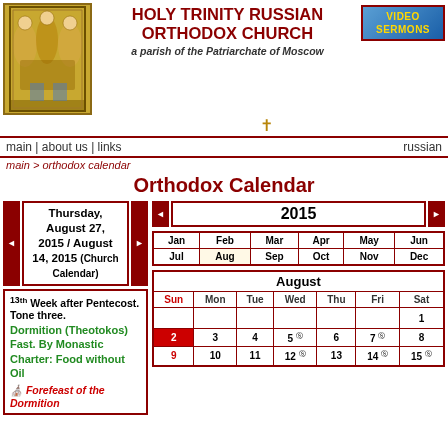[Figure (illustration): Russian Orthodox icon showing three angels (Holy Trinity / Rublev Trinity) seated at a table, gold background, ornate border]
HOLY TRINITY RUSSIAN ORTHODOX CHURCH
a parish of the Patriarchate of Moscow
[Figure (logo): Video Sermons button/logo with blue background and gold text]
✝
main | about us | links   russian
main > orthodox calendar
Orthodox Calendar
Thursday, August 27, 2015 / August 14, 2015 (Church Calendar)
2015
13th Week after Pentecost. Tone three. Dormition (Theotokos) Fast. By Monastic Charter: Food without Oil
Forefeast of the Dormition
| Jan | Feb | Mar | Apr | May | Jun | Jul | Aug | Sep | Oct | Nov | Dec |
| --- | --- | --- | --- | --- | --- | --- | --- | --- | --- | --- | --- |
| Jan | Feb | Mar | Apr | May | Jun |
| Jul | Aug | Sep | Oct | Nov | Dec |
| Sun | Mon | Tue | Wed | Thu | Fri | Sat |
| --- | --- | --- | --- | --- | --- | --- |
|  |  |  |  |  |  | 1 |
| 2 | 3 | 4 | 5 | 6 | 7 | 8 |
| 9 | 10 | 11 | 12 | 13 | 14 | 15 |